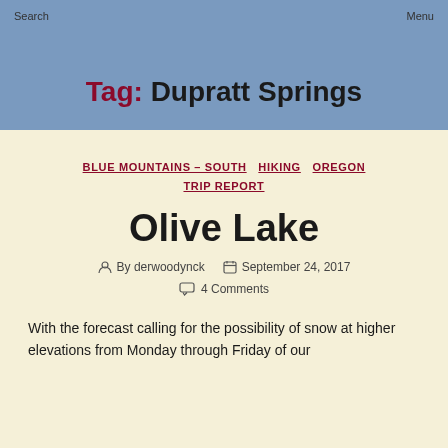Search    Menu
Tag: Dupratt Springs
BLUE MOUNTAINS – SOUTH   HIKING   OREGON   TRIP REPORT
Olive Lake
By derwoodynck   September 24, 2017
4 Comments
With the forecast calling for the possibility of snow at higher elevations from Monday through Friday of our